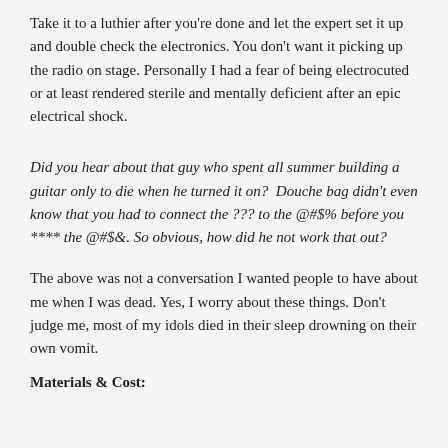Take it to a luthier after you're done and let the expert set it up and double check the electronics. You don't want it picking up the radio on stage. Personally I had a fear of being electrocuted or at least rendered sterile and mentally deficient after an epic electrical shock.
Did you hear about that guy who spent all summer building a guitar only to die when he turned it on?  Douche bag didn't even know that you had to connect the ??? to the @#$% before you **** the @#$&. So obvious, how did he not work that out?
The above was not a conversation I wanted people to have about me when I was dead. Yes, I worry about these things. Don't judge me, most of my idols died in their sleep drowning on their own vomit.
Materials & Cost: